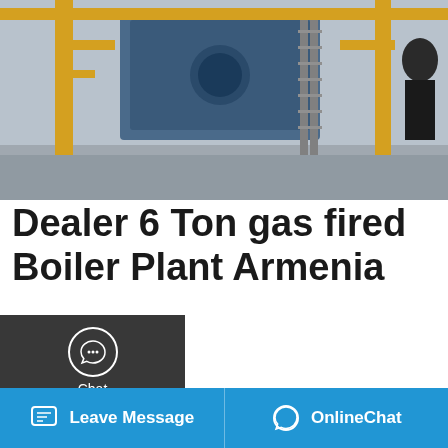[Figure (photo): Industrial boiler facility with yellow piping, stairs, and machinery in a large hall]
Dealer 6 Ton gas fired Boiler Plant Armenia
Hot Selling 6t Natural Gas fired boiler Armenia 4t gas boiler Hot Selling Industrial Malaysia. 2018 Best Selling 3 Ton Gas and Oil Fired Steam Boiler. We have been designing engineering manufacturing and serving a complete line of industrial boilers including gasoil coal biomasssolid fuel /hot water and thermal oil since 1956 for thousands of
[Figure (screenshot): Save Stickers on WhatsApp promotional banner with phone and emoji icons]
Leave Message | OnlineChat